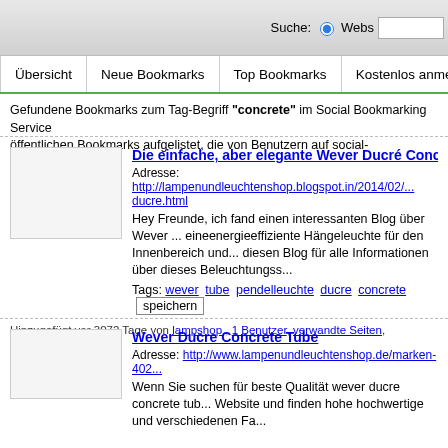[Figure (screenshot): Browser top bar with search field. Labels: Suche: [radio] Webs[ite] and a text input.]
Übersicht | Neue Bookmarks | Top Bookmarks | Kostenlos anmelden | Boo...
Gefundene Bookmarks zum Tag-Begriff "concrete" im Social Bookmarking Service... öffentlichen Bookmarks aufgelistet, die von Benutzern auf social-bookmarking.seek...
Die einfache, aber elegante Wever Ducré Concrete Tube ...
Adresse: http://lampenundleuchtenshop.blogspot.in/2014/02/...ducre.html
Hey Freunde, ich fand einen interessanten Blog über Wever ... eineenergieeffiziente Hängeleuchte für den Innenbereich und... diesen Blog für alle Informationen über dieses Beleuchtungs...
Tags: wever tube pendelleuchte ducre concrete speichern
Hinzugefügt vor 3072 Tage von lampshop , 1 Benutzer, verwandte Seiten, Kommentare (0...
Wever Ducre Concrete Tube
Adresse: http://www.lampenundleuchtenshop.de/marken-402...
Wenn Sie suchen für beste Qualität wever ducre concrete tub... Website und finden hohe hochwertige und verschiedenen Fa...